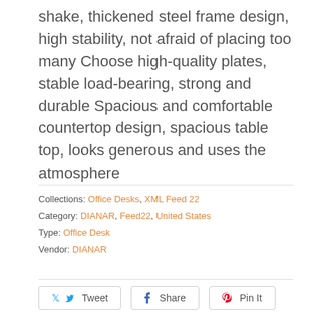shake, thickened steel frame design, high stability, not afraid of placing too many Choose high-quality plates, stable load-bearing, strong and durable Spacious and comfortable countertop design, spacious table top, looks generous and uses the atmosphere
Collections: Office Desks, XML Feed 22
Category: DIANAR, Feed22, United States
Type: Office Desk
Vendor: DIANAR
Tweet
Share
Pin It